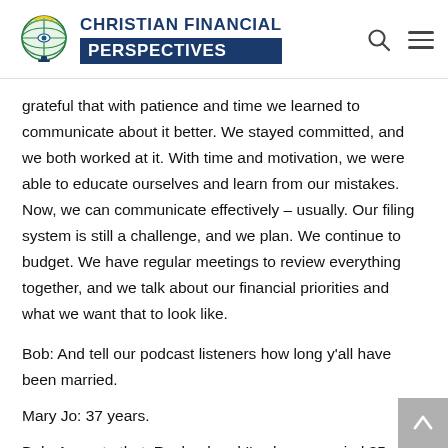CHRISTIAN FINANCIAL PERSPECTIVES
grateful that with patience and time we learned to communicate about it better. We stayed committed, and we both worked at it. With time and motivation, we were able to educate ourselves and learn from our mistakes. Now, we can communicate effectively – usually. Our filing system is still a challenge, and we plan. We continue to budget. We have regular meetings to review everything together, and we talk about our financial priorities and what we want that to look like.
Bob: And tell our podcast listeners how long y'all have been married.
Mary Jo: 37 years.
Bob: Amen to that. Rachael and I've been married 35, and it's